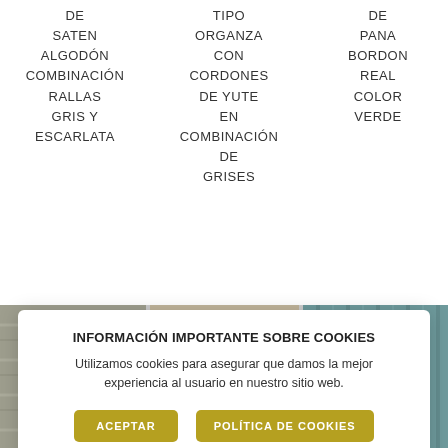DE SATEN ALGODÓN COMBINACIÓN RALLAS GRIS Y ESCARLATA
TIPO ORGANZA CON CORDONES DE YUTE EN COMBINACIÓN DE GRISES
DE PANA BORDON REAL COLOR VERDE
[Figure (photo): Three fabric swatches: gray striped satin, beige/tan organza, and teal/green corduroy]
INFORMACIÓN IMPORTANTE SOBRE COOKIES
Utilizamos cookies para asegurar que damos la mejor experiencia al usuario en nuestro sitio web.
ACEPTAR | POLÍTICA DE COOKIES